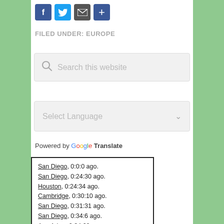[Figure (other): Social sharing icons: Facebook (f), Twitter (bird), Email (envelope), Share (+) buttons in blue squares]
FILED UNDER: EUROPE
[Figure (other): Search box with magnifying glass icon and placeholder text 'Search this website']
[Figure (other): Language selector dropdown with 'Select Language' placeholder and chevron arrow]
Powered by Google Translate
San Diego, 0:0:0 ago.
San Diego, 0:24:30 ago.
Houston, 0:24:34 ago.
Cambridge, 0:30:10 ago.
San Diego, 0:31:31 ago.
San Diego, 0:34:6 ago.
Ann Arbor, 0:34:28 ago.
San Diego, 0:37:45 ago.
San Diego, 0:39:5 ago.
Cambridge, 0:42:50 ago.
San Diego, 0:54:15 ago.
San Diego, 0:54:38 ago.